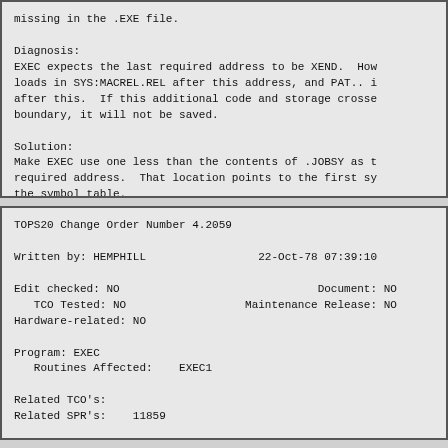missing in the .EXE file.

Diagnosis:
EXEC expects the last required address to be XEND.  How
loads in SYS:MACREL.REL after this address, and PAT.. i
after this.  If this additional code and storage crosse
boundary, it will not be saved.

Solution:
Make EXEC use one less than the contents of .JOBSY as t
required address.  That location points to the first sy
the symbol table.
TOPS20 Change Order Number 4.2059

Written by: HEMPHILL                 22-Oct-78 07:39:10

Edit checked: NO                              Document: NO
   TCO Tested: NO                  Maintenance Release: NO
Hardware-related: NO

Program: EXEC
   Routines Affected:    EXEC1

Related TCO's:
Related SPR's:    11859


Problem: